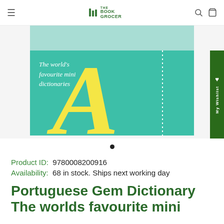[Figure (screenshot): The Book Grocer website navigation bar with hamburger menu, logo, search and cart icons]
[Figure (photo): Book cover for Portuguese Gem Dictionary featuring a large yellow letter A on a teal background with text 'The world's favourite mini dictionaries']
Product ID:  9780008200916
Availability:  68 in stock. Ships next working day
Portuguese Gem Dictionary The worlds favourite mini